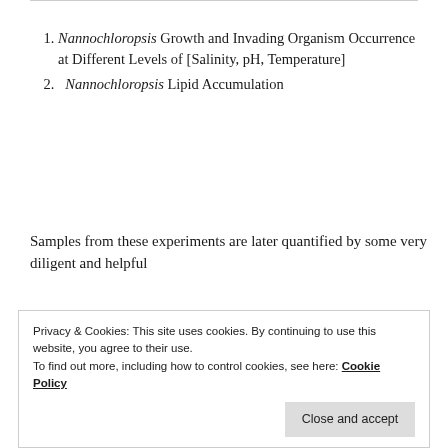Nannochloropsis Growth and Invading Organism Occurrence at Different Levels of [Salinity, pH, Temperature]
Nannochloropsis Lipid Accumulation
Samples from these experiments are later quantified by some very diligent and helpful
Privacy & Cookies: This site uses cookies. By continuing to use this website, you agree to their use.
To find out more, including how to control cookies, see here: Cookie Policy